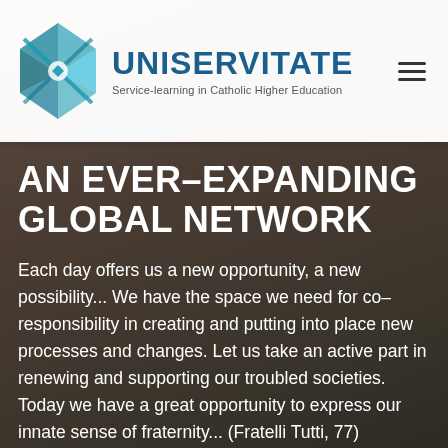[Figure (photo): Group of smiling young people (students) posing together outdoors, serving as hero background image]
UNISERVITATE — Service-learning in Catholic Higher Education
AN EVER–EXPANDING GLOBAL NETWORK
Each day offers us a new opportunity, a new possibility... We have the space we need for co–responsibility in creating and putting into place new processes and changes. Let us take an active part in renewing and supporting our troubled societies. Today we have a great opportunity to express our innate sense of fraternity... (Fratelli Tutti, 77)